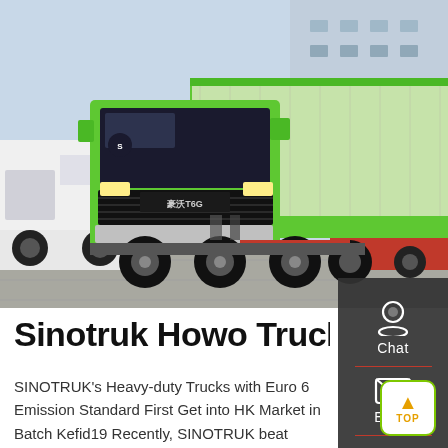[Figure (photo): A bright green SINOTRUK HOWO T7G heavy-duty dump truck displayed outdoors at what appears to be a truck exhibition, with other trucks (white and red) in the background and a large building visible.]
Sinotruk Howo Trucks Chi...
SINOTRUK's Heavy-duty Trucks with Euro 6 Emission Standard First Get into HK Market in Batch Kefid19 Recently, SINOTRUK beat competitors and won the bi...